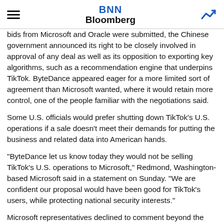BNN Bloomberg
bids from Microsoft and Oracle were submitted, the Chinese government announced its right to be closely involved in approval of any deal as well as its opposition to exporting key algorithms, such as a recommendation engine that underpins TikTok. ByteDance appeared eager for a more limited sort of agreement than Microsoft wanted, where it would retain more control, one of the people familiar with the negotiations said.
Some U.S. officials would prefer shutting down TikTok’s U.S. operations if a sale doesn’t meet their demands for putting the business and related data into American hands.
“ByteDance let us know today they would not be selling TikTok’s U.S. operations to Microsoft,” Redmond, Washington-based Microsoft said in a statement on Sunday. “We are confident our proposal would have been good for TikTok’s users, while protecting national security interests.”
Microsoft representatives declined to comment beyond the statement. Representatives for TikTok declined to comment. The White House also didn’t respond to a request for